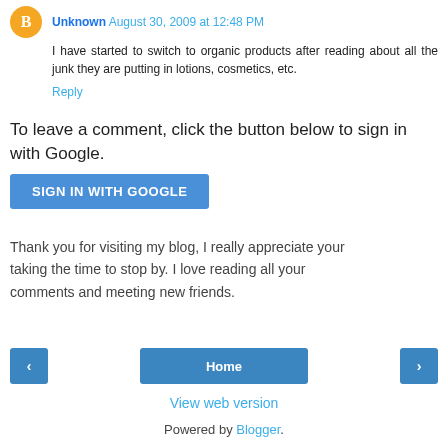Unknown August 30, 2009 at 12:48 PM — I have started to switch to organic products after reading about all the junk they are putting in lotions, cosmetics, etc.
Reply
To leave a comment, click the button below to sign in with Google.
[Figure (other): SIGN IN WITH GOOGLE button (blue rounded rectangle)]
Thank you for visiting my blog, I really appreciate your taking the time to stop by. I love reading all your comments and meeting new friends.
[Figure (other): Navigation buttons: left arrow, Home, right arrow]
View web version
Powered by Blogger.